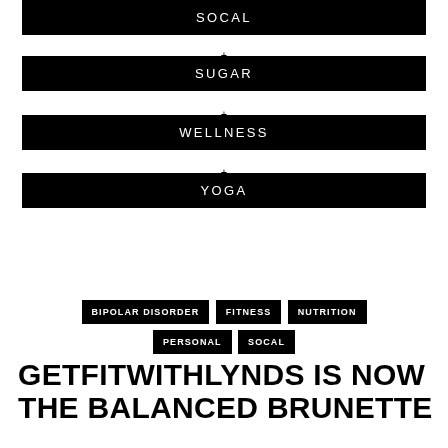SOCAL
+
SUGAR
+
WELLNESS
+
YOGA
BIPOLAR DISORDER
FITNESS
NUTRITION
PERSONAL
SOCAL
GETFITWITHLYNDS IS NOW THE BALANCED BRUNETTE